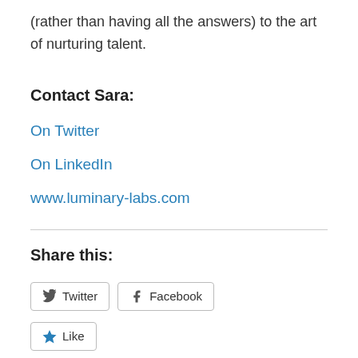(rather than having all the answers) to the art of nurturing talent.
Contact Sara:
On Twitter
On LinkedIn
www.luminary-labs.com
Share this:
Twitter  Facebook
Like